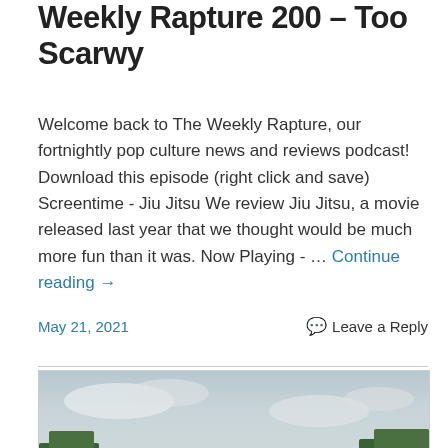Weekly Rapture 200 – Too Scarwy
Welcome back to The Weekly Rapture, our fortnightly pop culture news and reviews podcast! Download this episode (right click and save) Screentime - Jiu Jitsu We review Jiu Jitsu, a movie released last year that we thought would be much more fun than it was. Now Playing - … Continue reading →
May 21, 2021    Leave a Reply
[Figure (photo): Two men in superhero costumes (Falcon and Winter Soldier) walking on a road with green countryside and cloudy sky in background]